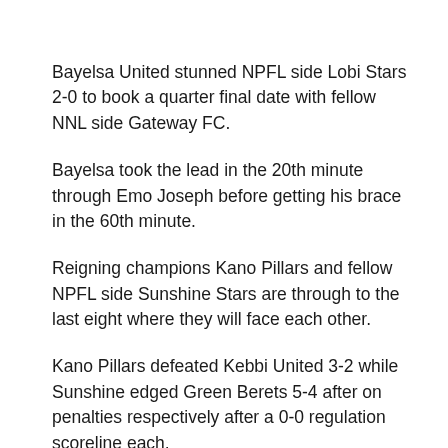Bayelsa United stunned NPFL side Lobi Stars 2-0 to book a quarter final date with fellow NNL side Gateway FC.
Bayelsa took the lead in the 20th minute through Emo Joseph before getting his brace in the 60th minute.
Reigning champions Kano Pillars and fellow NPFL side Sunshine Stars are through to the last eight where they will face each other.
Kano Pillars defeated Kebbi United 3-2 while Sunshine edged Green Berets 5-4 after on penalties respectively after a 0-0 regulation scoreline each.